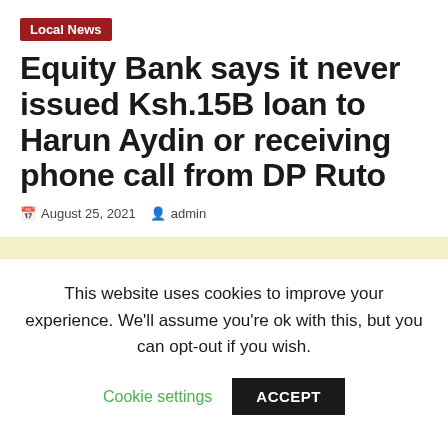Local News
Equity Bank says it never issued Ksh.15B loan to Harun Aydin or receiving phone call from DP Ruto
August 25, 2021  admin
This website uses cookies to improve your experience. We'll assume you're ok with this, but you can opt-out if you wish.
Cookie settings  ACCEPT